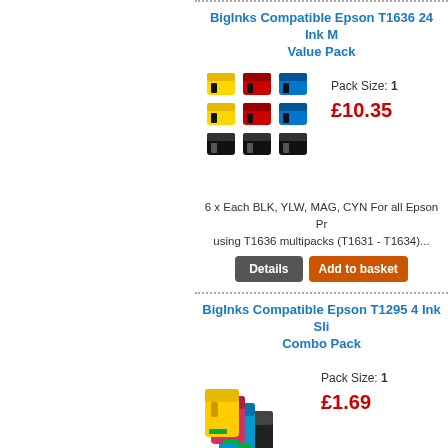BigInks Compatible Epson T1636 24 Ink Multipack Value Pack
Pack Size: 1
£10.35
6 x Each BLK, YLW, MAG, CYN For all Epson Printers using T1636 multipacks (T1631 - T1634)...
BigInks Compatible Epson T1295 4 Ink Slim Combo Pack
Pack Size: 1
£1.69